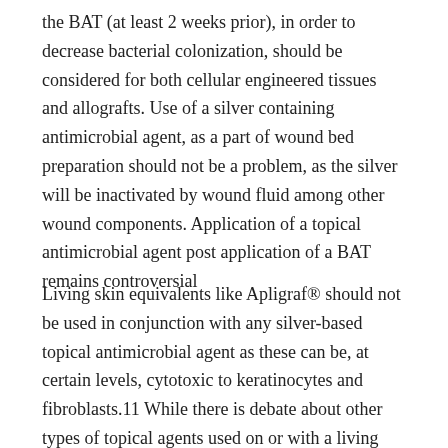the BAT (at least 2 weeks prior), in order to decrease bacterial colonization, should be considered for both cellular engineered tissues and allografts. Use of a silver containing antimicrobial agent, as a part of wound bed preparation should not be a problem, as the silver will be inactivated by wound fluid among other wound components. Application of a topical antimicrobial agent post application of a BAT remains controversial
Living skin equivalents like Apligraf® should not be used in conjunction with any silver-based topical antimicrobial agent as these can be, at certain levels, cytotoxic to keratinocytes and fibroblasts.11 While there is debate about other types of topical agents used on or with a living skin equivalent like Apligraf®, I have used Bacitracin ointment as well as AmeriGel®